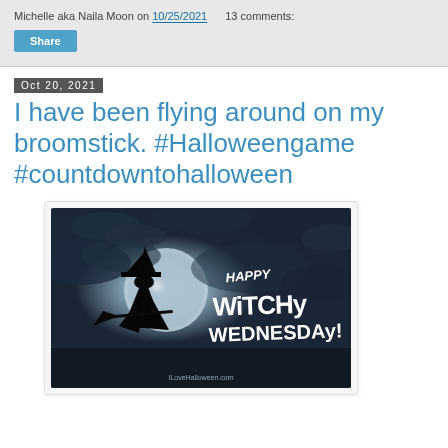Michelle aka Naila Moon on 10/25/2021   13 comments:
Share
Oct 20, 2021
I have been flying around on my broomstick. #Halloweengame #countdowntohalloween
[Figure (photo): A Halloween-themed image showing a witch silhouette on a broomstick flying against a full moon and dark cloudy night sky. Text on the right reads 'Happy Witchy Wednesday!' in white stylized lettering. Watermark: ILoveHalloween.com]